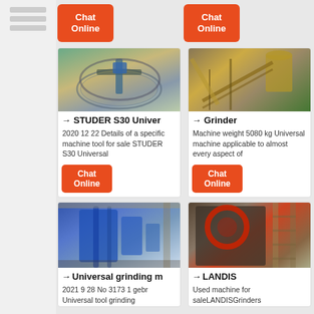[Figure (other): Sidebar with horizontal lines/menu icon]
Chat Online (top left button)
Chat Online (top right button)
[Figure (photo): STUDER S30 Universal grinding machine with circular tank/basin]
→ STUDER S30 Univer
2020 12 22 Details of a specific machine tool for sale STUDER S30 Universal
Chat Online
[Figure (photo): Grinder machine - industrial yellow equipment with conveyor]
→ Grinder
Machine weight 5080 kg Universal machine applicable to almost every aspect of
Chat Online
[Figure (photo): Universal grinding machine - large blue industrial equipment]
→ Universal grinding m
2021 9 28 No 3173 1 gebr Universal tool grinding
[Figure (photo): LANDIS grinder - industrial machine with red wheel]
→ LANDIS
Used machine for saleLANDISGrinders